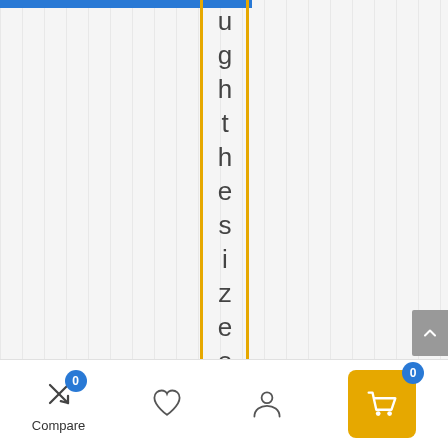[Figure (screenshot): E-commerce mobile page showing vertical striped background with two vertical gold/orange lines framing vertically written text characters: u, g, h, t, h, e, s, i, z, e, o, f, t, h. Blue top bar visible. Back-to-top button on right side. Bottom navigation toolbar with Compare (badge 0), Heart/Wishlist, User/Account, and Cart (badge 0, yellow background) icons.]